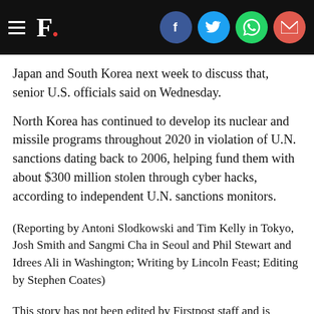F. [Firstpost logo with social share icons: Facebook, Twitter, WhatsApp, Email]
Japan and South Korea next week to discuss that, senior U.S. officials said on Wednesday.
North Korea has continued to develop its nuclear and missile programs throughout 2020 in violation of U.N. sanctions dating back to 2006, helping fund them with about $300 million stolen through cyber hacks, according to independent U.N. sanctions monitors.
(Reporting by Antoni Slodkowski and Tim Kelly in Tokyo, Josh Smith and Sangmi Cha in Seoul and Phil Stewart and Idrees Ali in Washington; Writing by Lincoln Feast; Editing by Stephen Coates)
This story has not been edited by Firstpost staff and is generated by auto-feed.
Updated Date:  March 25, 2021 07:10:24 IST